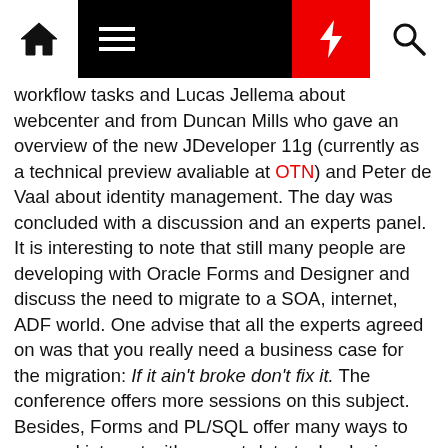Navigation bar with home, menu, lightning, and search icons
workflow tasks and Lucas Jellema about webcenter and from Duncan Mills who gave an overview of the new JDeveloper 11g (currently as a technical preview avaliable at OTN) and Peter de Vaal about identity management. The day was concluded with a discussion and an experts panel.
It is interesting to note that still many people are developing with Oracle Forms and Designer and discuss the need to migrate to a SOA, internet, ADF world. One advise that all the experts agreed on was that you really need a business case for the migration: If it ain't broke don't fix it. The conference offers more sessions on this subject. Besides, Forms and PL/SQL offer many ways to use and interact with current-date technologies.
Share this:
Print   Share   Tweet